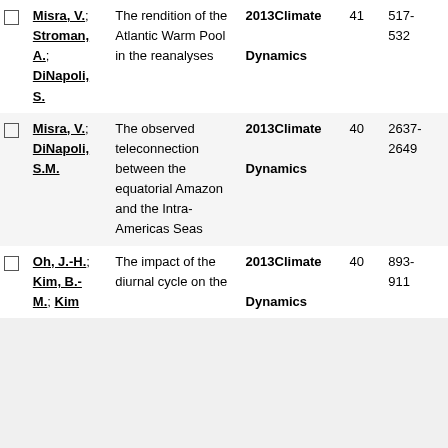|  | Authors | Title | Year/Journal | Vol | Pages |
| --- | --- | --- | --- | --- | --- |
| ☐ | Misra, V.; Stroman, A.; DiNapoli, S. | The rendition of the Atlantic Warm Pool in the reanalyses | 2013 Climate Dynamics | 41 | 517-532 |
| ☐ | Misra, V.; DiNapoli, S.M. | The observed teleconnection between the equatorial Amazon and the Intra-Americas Seas | 2013 Climate Dynamics | 40 | 2637-2649 |
| ☐ | Oh, J.-H.; Kim, B.-M.; Kim | The impact of the diurnal cycle on the | 2013 Climate Dynamics | 40 | 893-911 |